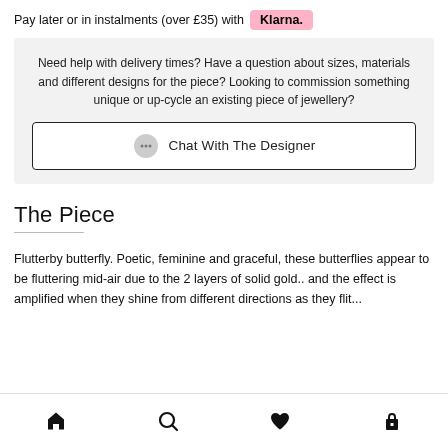Pay later or in instalments (over £35) with Klarna.
Need help with delivery times? Have a question about sizes, materials and different designs for the piece? Looking to commission something unique or up-cycle an existing piece of jewellery?
Chat With The Designer
The Piece
Flutterby butterfly. Poetic, feminine and graceful, these butterflies appear to be fluttering mid-air due to the 2 layers of solid gold.. and the effect is amplified when they shine from different directions as they flit...
Home | Search | Wishlist | Bag